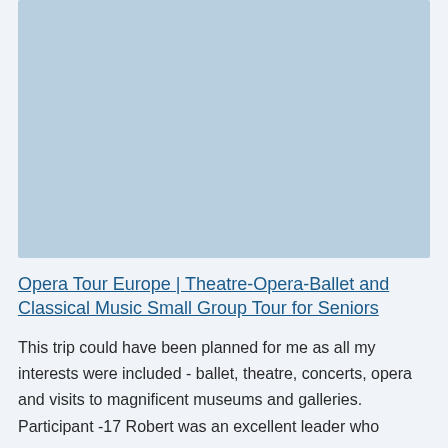[Figure (photo): A light blue placeholder image area at the top of the page]
Opera Tour Europe | Theatre-Opera-Ballet and Classical Music Small Group Tour for Seniors
This trip could have been planned for me as all my interests were included - ballet, theatre, concerts, opera and visits to magnificent museums and galleries. Participant -17 Robert was an excellent leader who